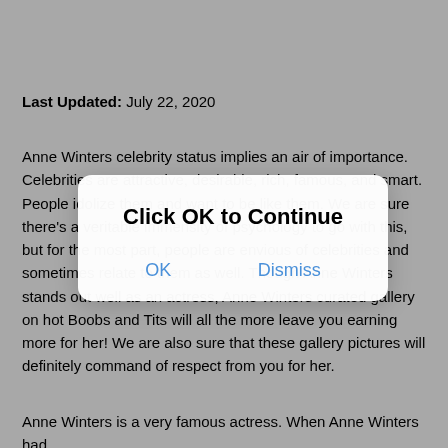Last Updated: July 22, 2020
Anne Winters celebrity status implies an air of importance. Celebrities are attractive, desirable, rich, famous, and smart. People idolize them and want to be like them. We are sure there's a veritable immensity of psychology to go with this, but for the most part, people are envious of celebrities and sometimes relate to them as well. Though Anne Winters stands out well as an actress, Anne Winters curated gallery on hot Boobs and Tits will all the more leave you earning more for her! We are also sure that these gallery pictures will definitely command of respect from you for her.
[Figure (screenshot): A modal dialog overlay with title 'Click OK to Continue' and two buttons: OK and Dismiss]
Anne Winters is a very famous actress. When Anne Winters had